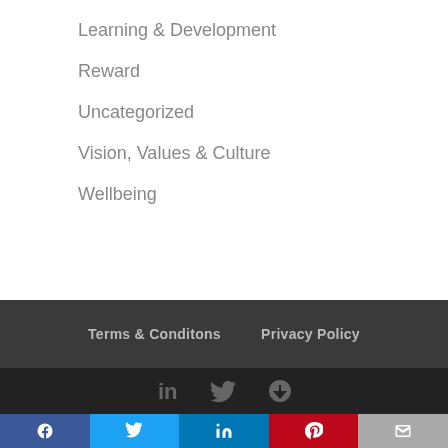Learning & Development
Reward
Uncategorized
Vision, Values & Culture
Wellbeing
Terms & Conditons    Privacy Policy
[Figure (other): Social media icons: LinkedIn, Twitter, RSS feed in dark bar; Facebook, Twitter, LinkedIn, Pinterest, Email share buttons in colored bar]